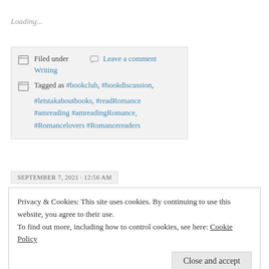Loading...
Filed under  Leave a comment  Writing
Tagged as #bookclub, #bookdiscussion, #letstakaboutbooks, #readRomance #amreading #amreadingRomance, #Romancelovers #Romancereaders
SEPTEMBER 7, 2021 · 12:56 AM
Privacy & Cookies: This site uses cookies. By continuing to use this website, you agree to their use.
To find out more, including how to control cookies, see here: Cookie Policy
Close and accept